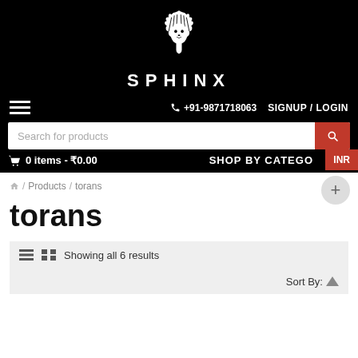[Figure (logo): Sphinx brand logo: white lion illustration on black background with brand name SPHINX below]
+91-9871718063  SIGNUP / LOGIN
Search for products
0 items - ₹0.00   SHOP BY CATEGORY
INR
🏠 / Products / torans
torans
Showing all 6 results
Sort By: